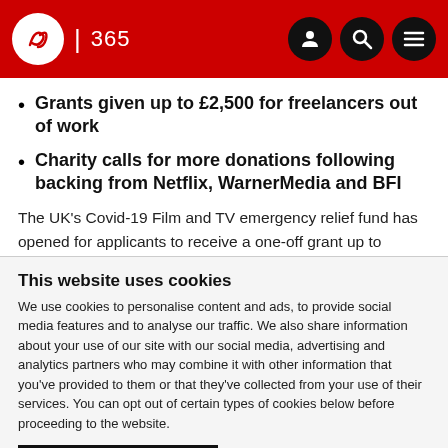IBC 365
Grants given up to £2,500 for freelancers out of work
Charity calls for more donations following backing from Netflix, WarnerMedia and BFI
The UK's Covid-19 Film and TV emergency relief fund has opened for applicants to receive a one-off grant up to
This website uses cookies
We use cookies to personalise content and ads, to provide social media features and to analyse our traffic. We also share information about your use of our site with our social media, advertising and analytics partners who may combine it with other information that you've provided to them or that they've collected from your use of their services. You can opt out of certain types of cookies below before proceeding to the website.
Use necessary cookies only
Allow all cookies
Show details